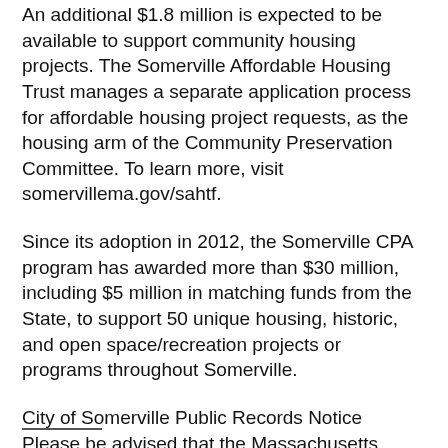An additional $1.8 million is expected to be available to support community housing projects. The Somerville Affordable Housing Trust manages a separate application process for affordable housing project requests, as the housing arm of the Community Preservation Committee. To learn more, visit somervillema.gov/sahtf.
Since its adoption in 2012, the Somerville CPA program has awarded more than $30 million, including $5 million in matching funds from the State, to support 50 unique housing, historic, and open space/recreation projects or programs throughout Somerville.
City of Somerville Public Records Notice
Please be advised that the Massachusetts Attorney General has determined that email is a public record unless the content of the email falls within one of the stated exemptions under the Massachusetts Public Records Laws.
___